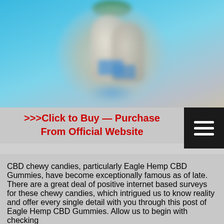[Figure (photo): Blurred product photo of Eagle Hemp CBD Gummies bottles on a blue background]
>>>Click to Buy — Purchase From Official Website
CBD chewy candies, particularly Eagle Hemp CBD Gummies, have become exceptionally famous as of late. There are a great deal of positive internet based surveys for these chewy candies, which intrigued us to know reality and offer every single detail with you through this post of Eagle Hemp CBD Gummies. Allow us to begin with checking